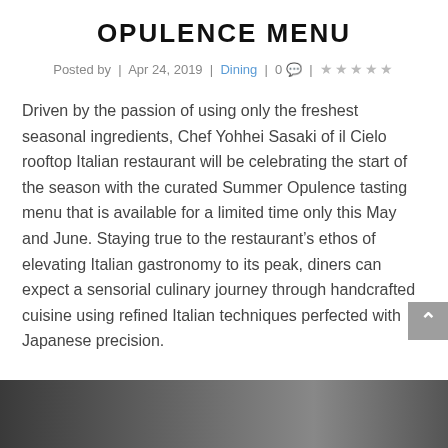OPULENCE MENU
Posted by | Apr 24, 2019 | Dining | 0 💬 | ☆☆☆☆☆
Driven by the passion of using only the freshest seasonal ingredients, Chef Yohhei Sasaki of il Cielo rooftop Italian restaurant will be celebrating the start of the season with the curated Summer Opulence tasting menu that is available for a limited time only this May and June. Staying true to the restaurant's ethos of elevating Italian gastronomy to its peak, diners can expect a sensorial culinary journey through handcrafted cuisine using refined Italian techniques perfected with Japanese precision.
[Figure (photo): Bottom strip showing a dark photo/image at the bottom of the page]